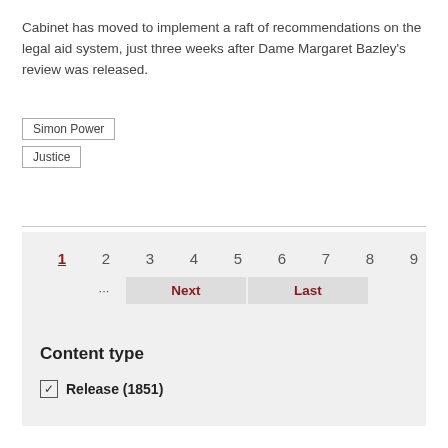Cabinet has moved to implement a raft of recommendations on the legal aid system, just three weeks after Dame Margaret Bazley's review was released.
Simon Power
Justice
1 2 3 4 5 6 7 8 9 ... Next Last
Content type
✓ Release (1851)